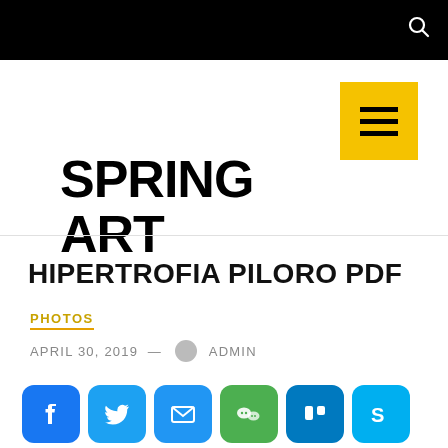SPRING ART
HIPERTROFIA PILORO PDF
PHOTOS
APRIL 30, 2019 — ADMIN
[Figure (infographic): Row of social media share icons: Facebook, Twitter, Email, WeChat, Trello, Skype, Plus, Odnoklassniki, Telegram, VK]